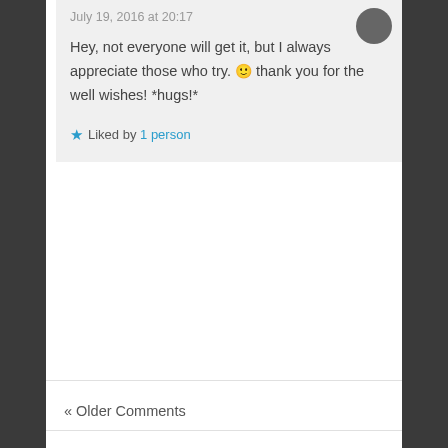July 19, 2016 at 20:17
Hey, not everyone will get it, but I always appreciate those who try. 🙂 thank you for the well wishes! *hugs!*
★ Liked by 1 person
« Older Comments
Leave a Reply
Your email address will not be published. Required fields are marked